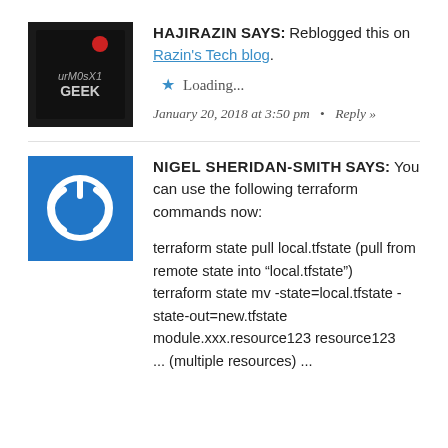[Figure (photo): Avatar image for hajirazin showing a dark background with text 'urMOsXt GEEK']
HAJIRAZIN SAYS: Reblogged this on Razin's Tech blog.
★ Loading...
January 20, 2018 at 3:50 pm  •  Reply »
[Figure (logo): Blue square avatar with white power button icon for Nigel Sheridan-Smith]
NIGEL SHERIDAN-SMITH SAYS: You can use the following terraform commands now:
terraform state pull local.tfstate (pull from remote state into "local.tfstate")
terraform state mv -state=local.tfstate -state-out=new.tfstate module.xxx.resource123 resource123
... (multiple resources) ...